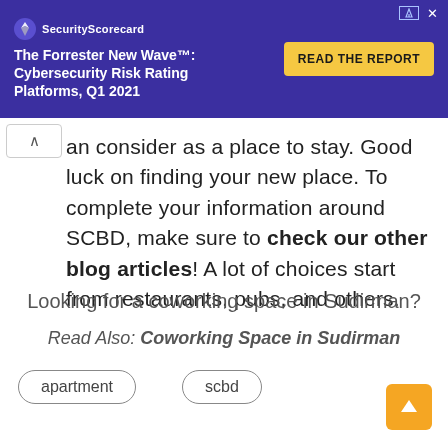[Figure (screenshot): SecurityScorecard advertisement banner: The Forrester New Wave™: Cybersecurity Risk Rating Platforms, Q1 2021 with READ THE REPORT button on purple background]
an consider as a place to stay. Good luck on finding your new place. To complete your information around SCBD, make sure to check our other blog articles! A lot of choices start from restaurants, pubs, and others.
Looking for a coworking space in Sudirman?
Read Also: Coworking Space in Sudirman
apartment
scbd